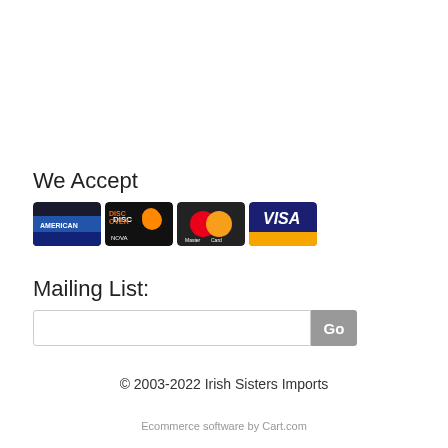We Accept
[Figure (illustration): Four payment method card icons in a row: American Express (blue), Discover (orange/black), MasterCard (red/orange circles), Visa (blue/gold)]
Mailing List:
Email input field with Go button
© 2003-2022 Irish Sisters Imports
Ecommerce software by Cart.com